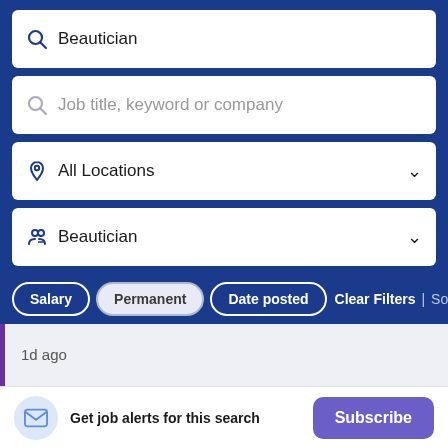Beautician
Job title, keyword or company
All Locations
Beautician
Salary
Permanent
Date posted
Clear Filters | Sort By Rel
1d ago
Bulgari Fragrance Consultant 香水顧問
Luxasia (H.K.) Ltd
Get job alerts for this search
Subscribe